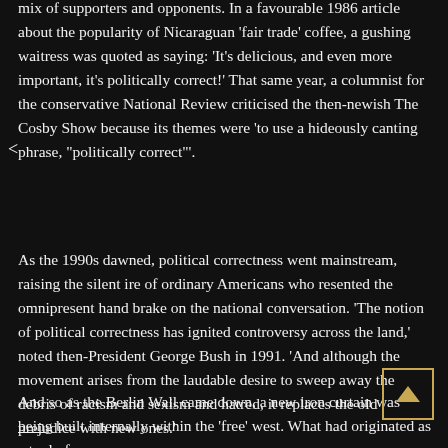mix of supporters and opponents. In a favourable 1986 article about the popularity of Nicaraguan 'fair trade' coffee, a gushing waitress was quoted as saying: 'It's delicious, and even more important, it's politically correct!' That same year, a columnist for the conservative National Review criticised the then-newish The Cosby Show because its themes were 'to use a hideously canting phrase, "politically correct"'.
As the 1990s dawned, political correctness went mainstream, raising the silent ire of ordinary Americans who resented the omnipresent hand brake on the national conversation. 'The notion of political correctness has ignited controversy across the land,' noted then-President George Bush in 1991. 'And although the movement arises from the laudable desire to sweep away the debris of racism and sexism and hatred, it replaces the old prejudice with new ones.'
And so as the Berlin Wall came down, a new iron curtain was being built internally within the 'free' west. What had originated as a tool of